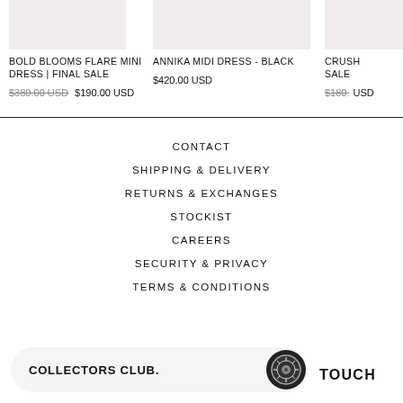BOLD BLOOMS FLARE MINI DRESS | FINAL SALE
$380.00 USD  $190.00 USD
ANNIKA MIDI DRESS - BLACK
$420.00 USD
CRUSH... SALE
$180... USD
CONTACT
SHIPPING & DELIVERY
RETURNS & EXCHANGES
STOCKIST
CAREERS
SECURITY & PRIVACY
TERMS & CONDITIONS
COLLECTORS CLUB.
TOUCH